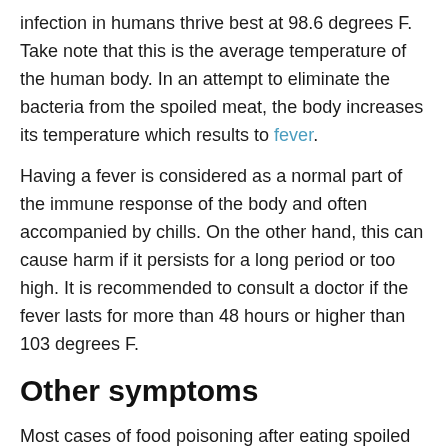infection in humans thrive best at 98.6 degrees F. Take note that this is the average temperature of the human body. In an attempt to eliminate the bacteria from the spoiled meat, the body increases its temperature which results to fever.
Having a fever is considered as a normal part of the immune response of the body and often accompanied by chills. On the other hand, this can cause harm if it persists for a long period or too high. It is recommended to consult a doctor if the fever lasts for more than 48 hours or higher than 103 degrees F.
Other symptoms
Most cases of food poisoning after eating spoiled meat might be due to bacteria that only trigger digestive symptoms, but some types of bacteria are considered as exceptions.
Even though an uncommon type of food poisoning, spoiled meat infected by Clostridium botulinum or botulism can cause double or blurry vision, difficulty speaking, light sensitivity,